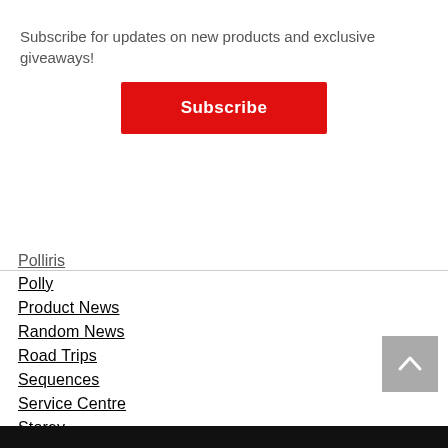Subscribe for updates on new products and exclusive giveaways!
Subscribe
Polly
Product News
Random News
Road Trips
Sequences
Service Centre
Storey
Stretton
Sykes
Videos
Wallpapers
Wallwork
Woodward